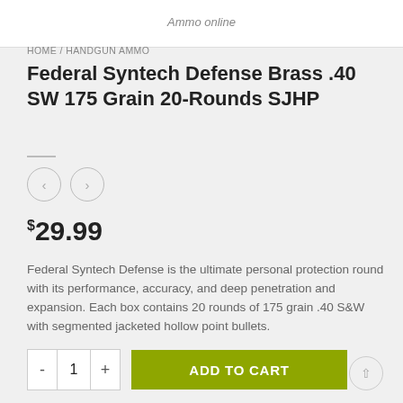Ammo online
HOME / HANDGUN AMMO
Federal Syntech Defense Brass .40 SW 175 Grain 20-Rounds SJHP
$29.99
Federal Syntech Defense is the ultimate personal protection round with its performance, accuracy, and deep penetration and expansion. Each box contains 20 rounds of 175 grain .40 S&W with segmented jacketed hollow point bullets.
ADD TO CART